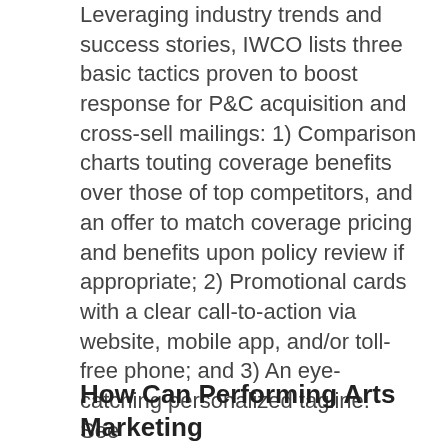Leveraging industry trends and success stories, IWCO lists three basic tactics proven to boost response for P&C acquisition and cross-sell mailings: 1) Comparison charts touting coverage benefits over those of top competitors, and an offer to match coverage pricing and benefits upon policy review if appropriate; 2) Promotional cards with a clear call-to-action via website, mobile app, and/or toll-free phone; and 3) An eye-catching personalized tagline. See https://www.iwco.com/blog/2018/02/14/insurance-marketing-trends-valentines-day/
How Can Performing Arts Marketing